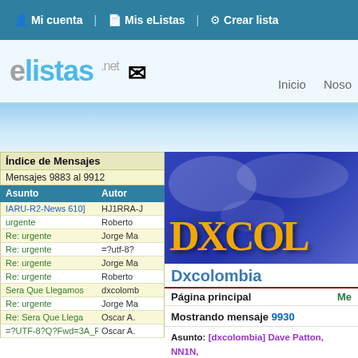Mi cuenta | Mis eListas | Crear lista
[Figure (logo): elistas.net logo with envelope icon, navigation links: Inicio, Noso]
[Figure (illustration): Light blue gradient decorative band]
Índice de Mensajes
Mensajes 9883 al 9912
| Asunto | Autor |
| --- | --- |
| IARU-R2-News 610] | HJ1RRA-J |
| urgente | Roberto |
| Re: urgente | Jorge Ma |
| Re: urgente | =?utf-8? |
| Re: urgente | Jorge Ma |
| Re: urgente | Roberto |
| Sera Que Llegamos | dxcolomb |
| Re: urgente | Jorge Ma |
| Re: Sera Que Llega | Oscar A. |
| =?UTF-8?Q?Fwd=3A_R | Oscar A. |
[Figure (illustration): Dxcolombia banner with blue world map background and stylized DXCOL text in gold/black]
Dxcolombia
Página principal
Mostrando mensaje 9930
Asunto: [dxcolombia] Dave Patton, NN1N,
Fecha: Martes, 9 de Enero, 2018, 19:58:39